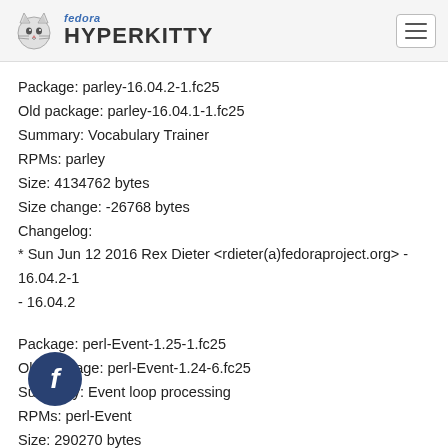fedora HYPERKITTY
Package: parley-16.04.2-1.fc25
Old package: parley-16.04.1-1.fc25
Summary: Vocabulary Trainer
RPMs: parley
Size: 4134762 bytes
Size change: -26768 bytes
Changelog:
* Sun Jun 12 2016 Rex Dieter <rdieter(a)fedoraproject.org&gt; - 16.04.2-1
- 16.04.2
Package: perl-Event-1.25-1.fc25
Old package: perl-Event-1.24-6.fc25
Summary: Event loop processing
RPMs: perl-Event
Size: 290270 bytes
Size change: 396 bytes
Changelog: